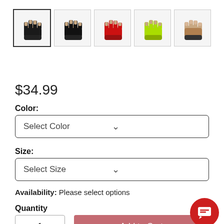[Figure (photo): Row of 5 product thumbnail images showing a fingerless workout glove in different colors: black, black/dark, red, yellow-green, and black/tan. The first thumbnail is selected with a darker border.]
$34.99
Color:
Select Color
Size:
Select Size
Availability: Please select options
Quantity
1
Add to Cart